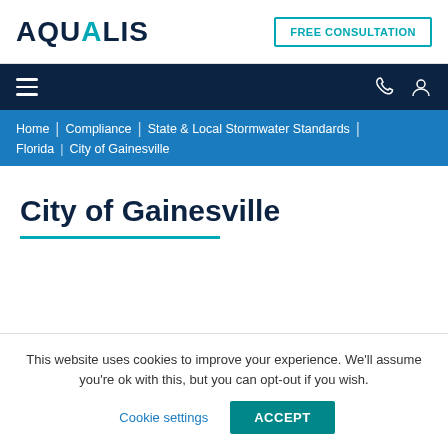AQUALIS
FREE CONSULTATION
Home | Compliance | State & Local Stormwater Standards | Florida | City of Gainesville
City of Gainesville
This website uses cookies to improve your experience. We'll assume you're ok with this, but you can opt-out if you wish.
Cookie settings  ACCEPT